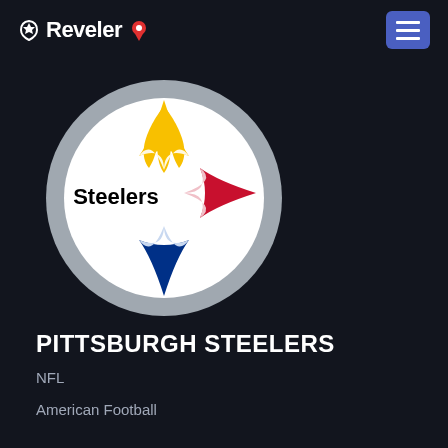Reveler
[Figure (logo): Pittsburgh Steelers logo — circular emblem with gray outer ring, white inner circle, and the hypocycloid Steelmark design: yellow four-pointed star top, red four-pointed star right, blue four-pointed star bottom, with 'Steelers' text in black on the left side]
PITTSBURGH STEELERS
NFL
American Football